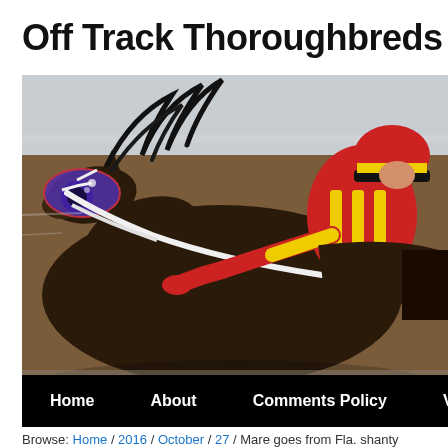Off Track Thoroughbreds
[Figure (photo): A dark bay thoroughbred horse with purple blinkers and a jockey in red and yellow silks riding at full gallop on a racetrack]
Home   About   Comments Policy   Veterinary
Browse: Home / 2016 / October / 27 / Mare goes from Fla. shanty
Mare goes from Fla. shanty to s